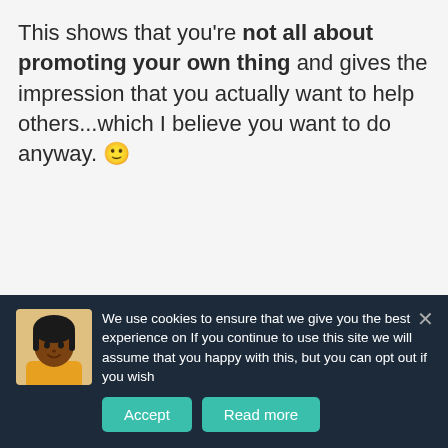This shows that you're not all about promoting your own thing and gives the impression that you actually want to help others...which I believe you want to do anyway. 🙂
[Figure (illustration): Red/orange lightbulb icon on white card background above the text 'Steph's Quick Tip:']
Steph's Quick Tip:
We use cookies to ensure that we give you the best experience on If you continue to use this site we will assume that you happy with this, but you can opt out if you wish